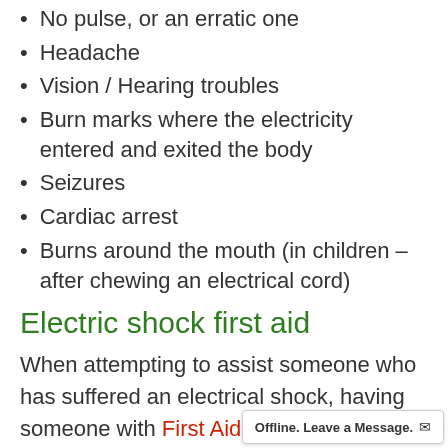No pulse, or an erratic one
Headache
Vision / Hearing troubles
Burn marks where the electricity entered and exited the body
Seizures
Cardiac arrest
Burns around the mouth (in children – after chewing an electrical cord)
Electric shock first aid
When attempting to assist someone who has suffered an electrical shock, having someone with First Aid training can…